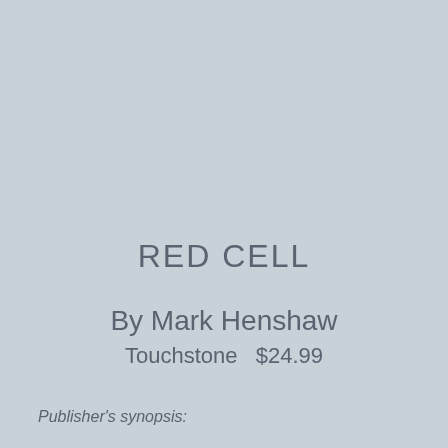RED CELL
By Mark Henshaw
Touchstone  $24.99
Publisher's synopsis: